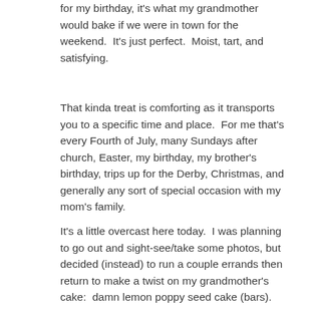for my birthday, it's what my grandmother would bake if we were in town for the weekend.  It's just perfect.  Moist, tart, and satisfying.
That kinda treat is comforting as it transports you to a specific time and place.  For me that's every Fourth of July, many Sundays after church, Easter, my birthday, my brother's birthday, trips up for the Derby, Christmas, and generally any sort of special occasion with my mom's family.
It's a little overcast here today.  I was planning to go out and sight-see/take some photos, but decided (instead) to run a couple errands then return to make a twist on my grandmother's cake:  damn lemon poppy seed cake (bars).